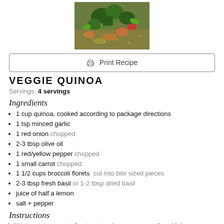[Figure (photo): Food photo showing broccoli, peppers, and vegetables dish from above]
Print Recipe
VEGGIE QUINOA
Servings: 4 servings
Ingredients
1 cup quinoa, cooked according to package directions
1 tsp minced garlic
1 red onion chopped
2-3 tbsp olive oil
1 red/yellow pepper chopped
1 small carrot chopped
1 1/2 cups broccoli florets  cut into bite sized pieces
2-3 tbsp fresh basil or 1-2 tbsp dried basil
juice of half a lemon
salt + pepper
Instructions
Heat a steamer pot of water to a simmer over medium-high